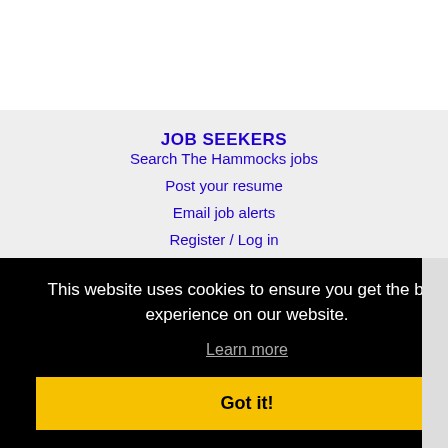JOB SEEKERS
Search The Hammocks jobs
Post your resume
Email job alerts
Register / Log in
This website uses cookies to ensure you get the best experience on our website.
Learn more
Got it!